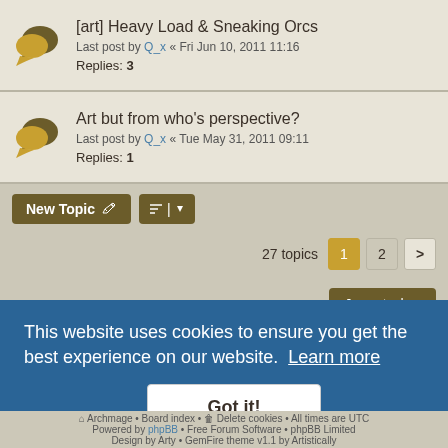[art] Heavy Load & Sneaking Orcs
Last post by Q_x « Fri Jun 10, 2011 11:16
Replies: 3
Art but from who's perspective?
Last post by Q_x « Tue May 31, 2011 09:11
Replies: 1
27 topics  1  2  >
Jump to
Forum permissions
You cannot post new topics in this forum
You cannot reply to topics in this forum
You cannot edit your posts in this forum
You cannot delete your posts in this forum
You cannot post attachments in this forum
This website uses cookies to ensure you get the best experience on our website. Learn more
Got it!
Board index  |  Delete cookies  All times are UTC
Powered by phpBB | Free Forum Software | phpBB Limited
Design by Arty | GemFire theme v1.1 by Artistically